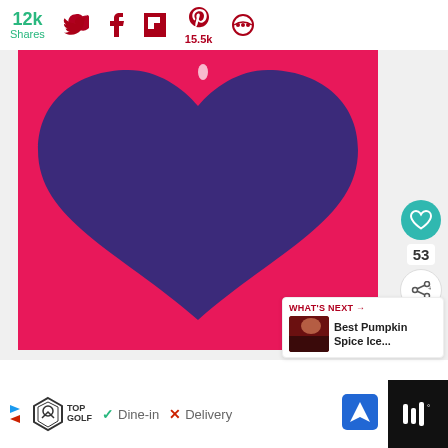12k Shares
[Figure (illustration): Purple heart shape on a pink/magenta background, cropped view showing mainly the bottom half of the heart.]
53
WHAT'S NEXT → Best Pumpkin Spice Ice...
[Figure (infographic): Advertisement bar at bottom: TopGolf logo, Dine-in checkmark, Delivery X mark, navigation icon, music icon]